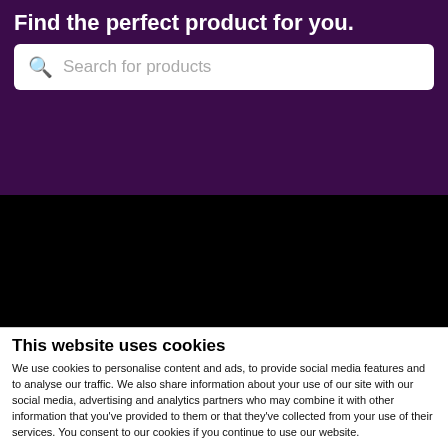Find the perfect product for you.
[Figure (screenshot): Search box with placeholder text 'Search for products' on a purple background]
[Figure (photo): Black banner/image section below the purple banner]
This website uses cookies
We use cookies to personalise content and ads, to provide social media features and to analyse our traffic. We also share information about your use of our site with our social media, advertising and analytics partners who may combine it with other information that you've provided to them or that they've collected from your use of their services. You consent to our cookies if you continue to use our website.
Allow selection | Allow all cookies
Necessary  Preferences  Statistics  Marketing  Show details